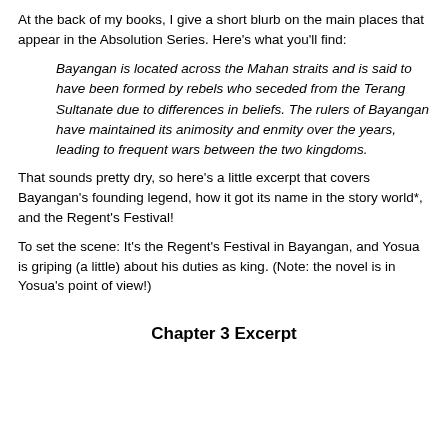At the back of my books, I give a short blurb on the main places that appear in the Absolution Series. Here's what you'll find:
Bayangan is located across the Mahan straits and is said to have been formed by rebels who seceded from the Terang Sultanate due to differences in beliefs. The rulers of Bayangan have maintained its animosity and enmity over the years, leading to frequent wars between the two kingdoms.
That sounds pretty dry, so here's a little excerpt that covers Bayangan's founding legend, how it got its name in the story world*, and the Regent's Festival!
To set the scene: It's the Regent's Festival in Bayangan, and Yosua is griping (a little) about his duties as king. (Note: the novel is in Yosua's point of view!)
Chapter 3 Excerpt